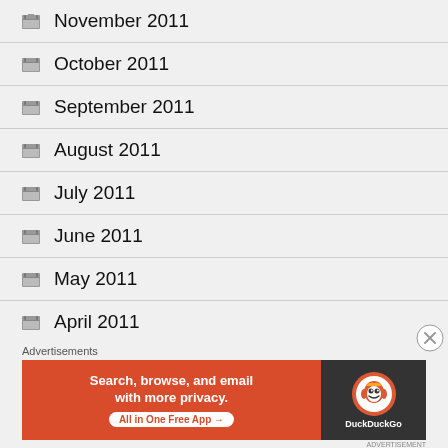November 2011
October 2011
September 2011
August 2011
July 2011
June 2011
May 2011
April 2011
Advertisements
[Figure (other): DuckDuckGo advertisement banner: orange left side with text 'Search, browse, and email with more privacy. All in One Free App', dark right side with DuckDuckGo duck logo and brand name.]